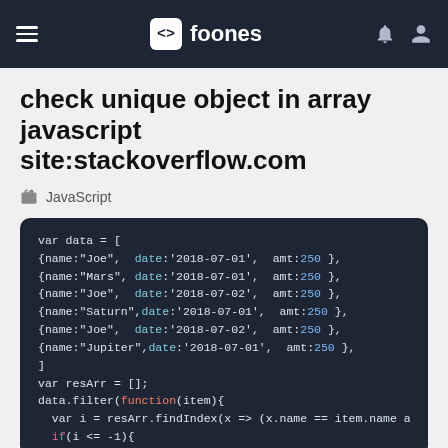foones
check unique object in array javascript site:stackoverflow.com
JavaScript
[Figure (screenshot): A dark-themed code block showing JavaScript code with syntax highlighting. The code defines a var data array of objects with name, date, amt properties, then declares var resArr = []; and calls data.filter(function(item){ with a line beginning var i = resArr.findIndex(x => (x.name == item.name a... and if(i <= -1){]